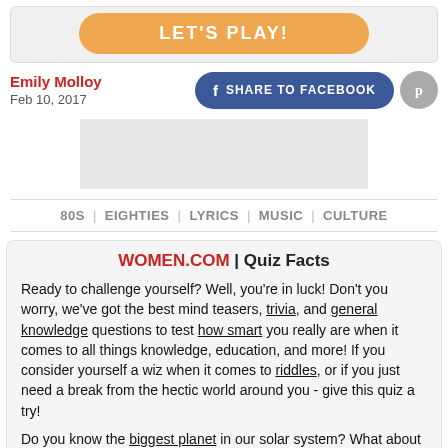[Figure (other): Orange rounded button labeled LET'S PLAY!]
Emily Molloy
Feb 10, 2017
[Figure (other): Blue Facebook share button and grey Pinterest button]
[Figure (other): Grey advertisement placeholder rectangle]
80S | EIGHTIES | LYRICS | MUSIC | CULTURE
WOMEN.COM | Quiz Facts
Ready to challenge yourself? Well, you're in luck! Don't you worry, we've got the best mind teasers, trivia, and general knowledge questions to test how smart you really are when it comes to all things knowledge, education, and more! If you consider yourself a wiz when it comes to riddles, or if you just need a break from the hectic world around you - give this quiz a try!

Do you know the biggest planet in our solar system? What about the full lyrics to Michael Jackson's "Beat It"? Can you guess every line from "Pretty Woman", or figure out how...